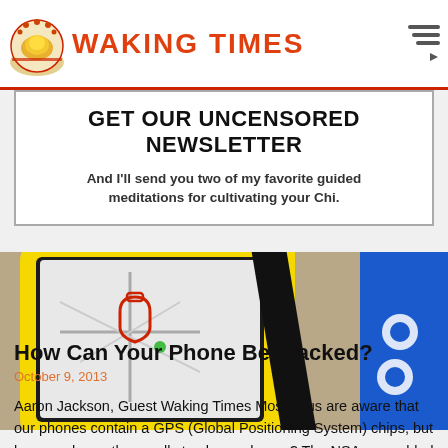WAKING TIMES
GET OUR UNCENSORED NEWSLETTER
And I'll send you two of my favorite guided meditations for cultivating your Chi.
[Figure (photo): Close-up photo of a yellow smartphone displaying a map with GPS tracking icons, with a blue edge on the right side.]
How Can Your Phone Be Tracked?
October 9, 2013
Aaron Jackson, Guest Waking Times Most of us are aware that our phones contain a GPS (Global Positioning System) chips, but how much can they really track our phones? The NSA assembled a team called